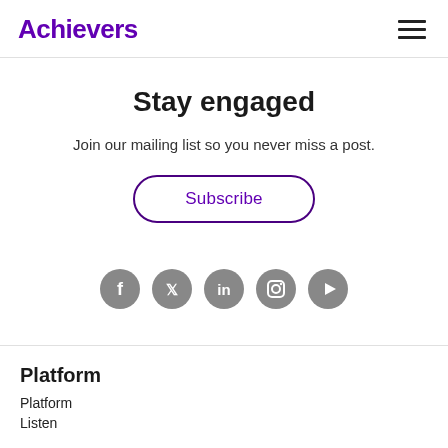Achievers
Stay engaged
Join our mailing list so you never miss a post.
Subscribe
[Figure (illustration): Social media icons row: Facebook, Twitter, LinkedIn, Instagram, YouTube — all grey circles]
Platform
Platform
Listen